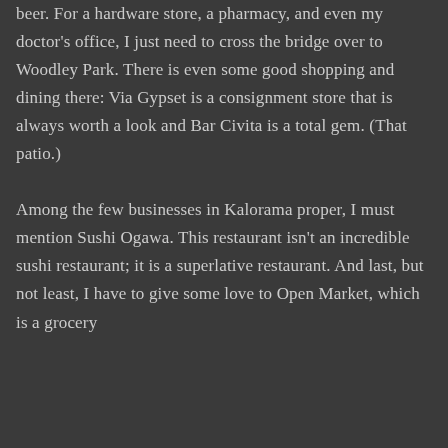beer. For a hardware store, a pharmacy, and even my doctor's office, I just need to cross the bridge over to Woodley Park. There is even some good shopping and dining there: Via Gypset is a consignment store that is always worth a look and Bar Civita is a total gem. (That patio.)

Among the few businesses in Kalorama proper, I must mention Sushi Ogawa. This restaurant isn't an incredible sushi restaurant; it is a superlative restaurant. And last, but not least, I have to give some love to Open Market, which is a grocery